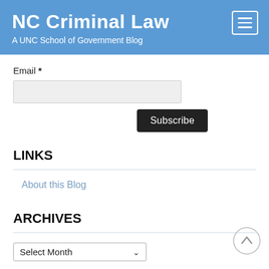NC Criminal Law
A UNC School of Government Blog
Email *
LINKS
About this Blog
ARCHIVES
Select Month
CATEGORIES
Case Summaries
Crimes and Elements